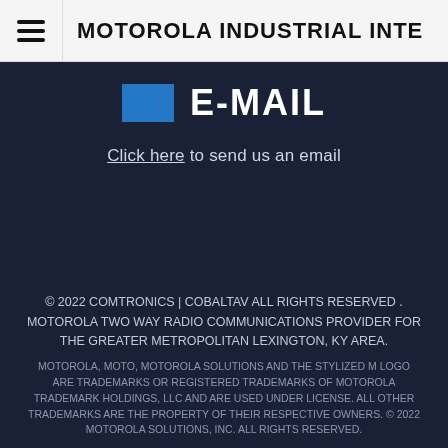MOTOROLA INDUSTRIAL INTE
E-MAIL
Click here to send us an email
© 2022 COMTRONICS | COBALTAV ALL RIGHTS RESERVED . MOTOROLA TWO WAY RADIO COMMUNICATIONS PROVIDER FOR THE GREATER METROPOLITAN LEXINGTON, KY AREA.
MOTOROLA, MOTO, MOTOROLA SOLUTIONS AND THE STYLIZED M LOGO ARE TRADEMARKS OR REGISTERED TRADEMARKS OF MOTOROLA TRADEMARK HOLDINGS, LLC AND ARE USED UNDER LICENSE. ALL OTHER TRADEMARKS ARE THE PROPERTY OF THEIR RESPECTIVE OWNERS. © 2022 MOTOROLA SOLUTIONS, INC. ALL RIGHTS RESERVED.